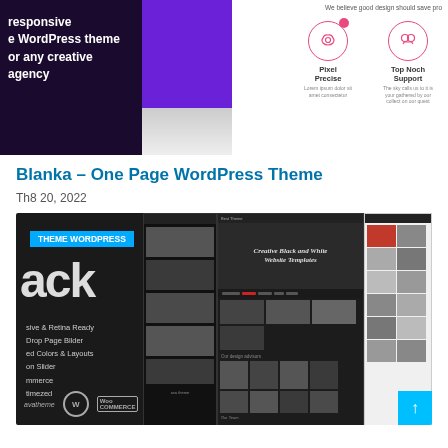[Figure (screenshot): Two side-by-side website screenshots: left shows a dark purple WordPress theme with text 'responsive WordPress theme for any creative agency'; right shows a white mobile UI with icons for Pixel Precise and Top Notch Support]
Blanka – One Page WordPress Theme
Th8 20, 2022
[Figure (screenshot): Dark-themed WordPress theme showcase with 'THEME WORDPRESS' badge, large 'ack' text, feature list including 'sive & Retina Ready', 'Drop Page Bilder', 'ed Colors & Layouts', 'on Slider', 'mmerce', 'timezed', and logos. Multiple inner mockup screenshots show creative black and white website templates.]